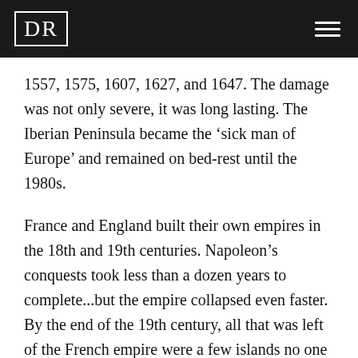DR
1557, 1575, 1607, 1627, and 1647. The damage was not only severe, it was long lasting. The Iberian Peninsula became the ‘sick man of Europe’ and remained on bed-rest until the 1980s.
France and England built their own empires in the 18th and 19th centuries. Napoleon’s conquests took less than a dozen years to complete...but the empire collapsed even faster. By the end of the 19th century, all that was left of the French empire were a few islands no one could find on a map and some godforsaken colonies in Africa that the French would soon regret ever having laid eyes upon. Almost all were lost, forgotten or surrendered by the 1960s –